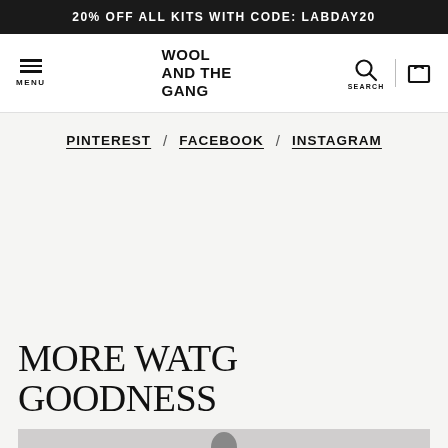20% OFF ALL KITS WITH CODE: LABDAY20
WOOL AND THE GANG
PINTEREST / FACEBOOK / INSTAGRAM
MORE WATG GOODNESS
[Figure (photo): Partial photo of a person at the bottom of the page]